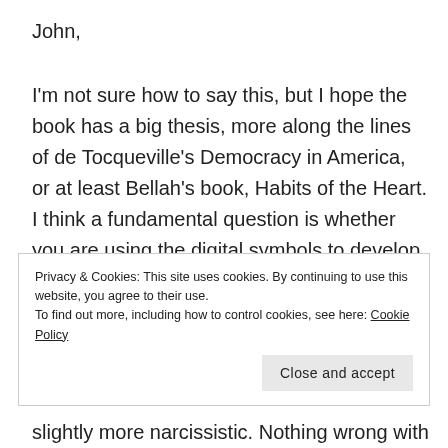John,
I'm not sure how to say this, but I hope the book has a big thesis, more along the lines of de Tocqueville's Democracy in America, or at least Bellah's book, Habits of the Heart. I think a fundamental question is whether you are using the digital symbols to develop a much larger idea, or are the symbols themselves the idea. I would like to know whether the shifts now going on,
Privacy & Cookies: This site uses cookies. By continuing to use this website, you agree to their use.
To find out more, including how to control cookies, see here: Cookie Policy
slightly more narcissistic. Nothing wrong with